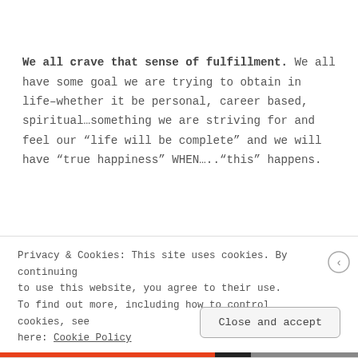We all crave that sense of fulfillment. We all have some goal we are trying to obtain in life–whether it be personal, career based, spiritual…something we are striving for and feel our “life will be complete” and we will have “true happiness” WHEN…..“this” happens.
Privacy & Cookies: This site uses cookies. By continuing to use this website, you agree to their use. To find out more, including how to control cookies, see here: Cookie Policy